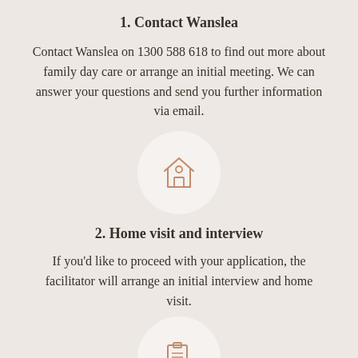1. Contact Wanslea
Contact Wanslea on 1300 588 618 to find out more about family day care or arrange an initial meeting. We can answer your questions and send you further information via email.
[Figure (illustration): House icon with a person silhouette inside, shown in a light circular background]
2. Home visit and interview
If you'd like to proceed with your application, the facilitator will arrange an initial interview and home visit.
[Figure (illustration): Clipboard with pencil/edit icon, shown in a light circular background, partially visible at bottom of page]